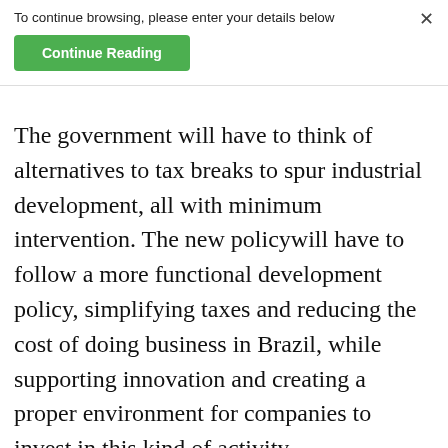To continue browsing, please enter your details below
Continue Reading
×
The government will have to think of alternatives to tax breaks to spur industrial development, all with minimum intervention. The new policywill have to follow a more functional development policy, simplifying taxes and reducing the cost of doing business in Brazil, while supporting innovation and creating a proper environment for companies to invest in this kind of activity.